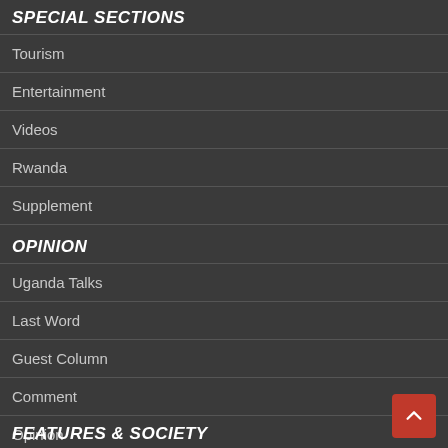SPECIAL SECTIONS
Tourism
Entertainment
Videos
Rwanda
Supplement
OPINION
Uganda Talks
Last Word
Guest Column
Comment
Opinion
Insight
FEATURES & SOCIETY